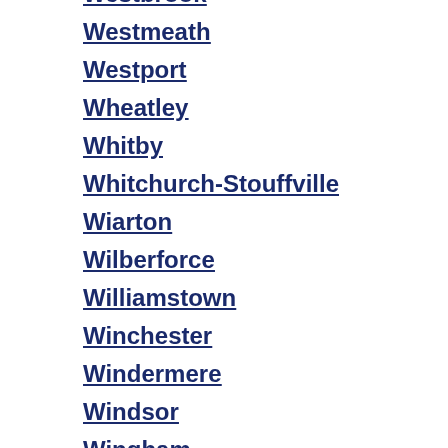Westbrook
Westmeath
Westport
Wheatley
Whitby
Whitchurch-Stouffville
Wiarton
Wilberforce
Williamstown
Winchester
Windermere
Windsor
Wingham
Wolfe Island
Wollaston
Woodlawn